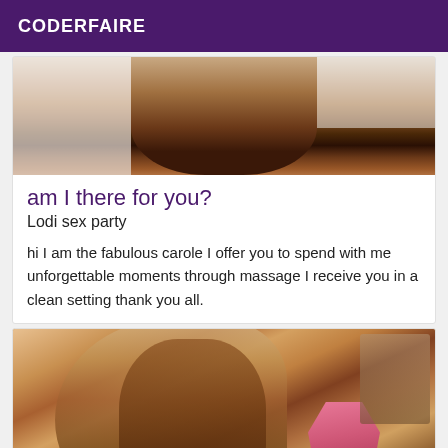CODERFAIRE
[Figure (photo): Partial photo visible at top of card, showing a person in a bathroom setting, cropped]
am I there for you?
Lodi sex party
hi I am the fabulous carole I offer you to spend with me unforgettable moments through massage I receive you in a clean setting thank you all.
[Figure (photo): Photo of a person in a pink bikini, blonde hair, partial view]